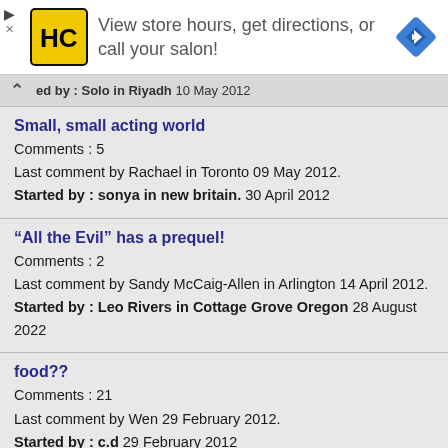[Figure (other): Advertisement banner for a hair salon service: HC logo in yellow square, text 'View store hours, get directions, or call your salon!', blue navigation diamond icon on right.]
ed by : Solo in Riyadh 10 May 2012
Small, small acting world
Comments : 5
Last comment by Rachael in Toronto 09 May 2012.
Started by : sonya in new britain. 30 April 2012
“All the Evil” has a prequel!
Comments : 2
Last comment by Sandy McCaig-Allen in Arlington 14 April 2012.
Started by : Leo Rivers in Cottage Grove Oregon 28 August 2022
food??
Comments : 21
Last comment by Wen 29 February 2012.
Started by : c.d 29 February 2012
Didn’t understand